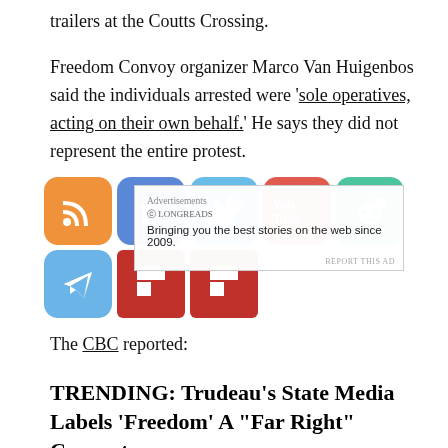trailers at the Coutts Crossing.
Freedom Convoy organizer Marco Van Huigenbos said the individuals arrested were 'sole operatives, acting on their own behalf.' He says they did not represent the entire protest.
[Figure (other): Social media sharing icons (RSS, Facebook, Twitter, YouTube, Reddit, Telegram, Flipboard x2) with an advertisement overlay from Longreads saying 'Bringing you the best stories on the web since 2009.' with REPORT THIS AD text.]
The CBC reported:
TRENDING: Trudeau's State Media Labels 'Freedom' A "Far Right" Concept
One of the organizers of the truck convoy